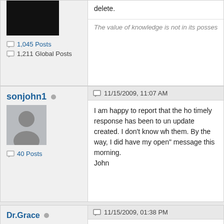delete.
The value of knowledge is not in its posses
1,045 Posts
1,211 Global Posts
sonjohn1
11/15/2009, 11:07 AM
40 Posts
I am happy to report that the ho timely response has been to un update created. I don't know wh them. By the way, I did have my open" message this morning. John
Dr.Grace
11/15/2009, 01:38 PM